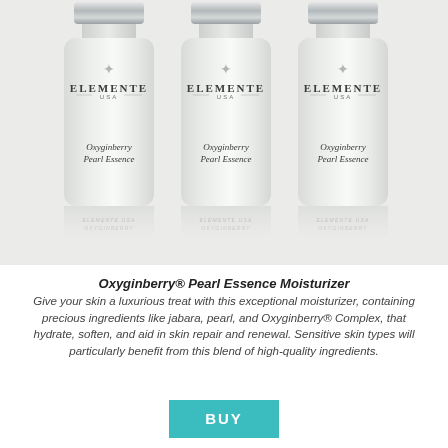[Figure (photo): Three white frosted glass bottles of Elemente USA Oxyginberry Pearl Essence moisturizer with silver caps, arranged side by side on a light grey background with their reflections visible below.]
Oxyginberry® Pearl Essence Moisturizer
Give your skin a luxurious treat with this exceptional moisturizer, containing precious ingredients like jabara, pearl, and Oxyginberry® Complex, that hydrate, soften, and aid in skin repair and renewal. Sensitive skin types will particularly benefit from this blend of high-quality ingredients.
BUY